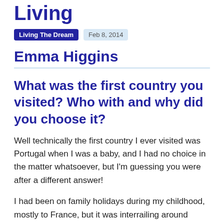Living
Living The Dream   Feb 8, 2014
Emma Higgins
What was the first country you visited? Who with and why did you choose it?
Well technically the first country I ever visited was Portugal when I was a baby, and I had no choice in the matter whatsoever, but I'm guessing you were after a different answer!
I had been on family holidays during my childhood, mostly to France, but it was interrailing around Europe that was my first real travel experience, and I went with a close friend called Jenna. We chose